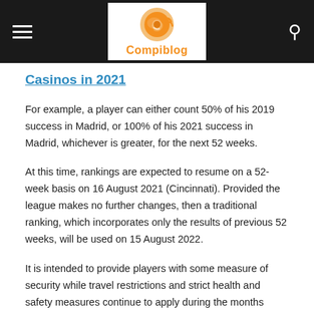Compiblog
Casinos in 2021
For example, a player can either count 50% of his 2019 success in Madrid, or 100% of his 2021 success in Madrid, whichever is greater, for the next 52 weeks.
At this time, rankings are expected to resume on a 52-week basis on 16 August 2021 (Cincinnati). Provided the league makes no further changes, then a traditional ranking, which incorporates only the results of previous 52 weeks, will be used on 15 August 2022.
It is intended to provide players with some measure of security while travel restrictions and strict health and safety measures continue to apply during the months ahead. Half of